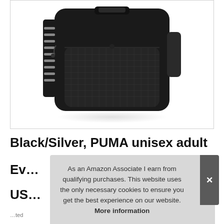[Figure (photo): Black PUMA backpack/sling bag viewed from the front, showing mesh pocket and reflective strap details, on a white background with slight shadow reflection.]
Black/Silver, PUMA unisex adult Ev… US…
As an Amazon Associate I earn from qualifying purchases. This website uses the only necessary cookies to ensure you get the best experience on our website. More information
…ted